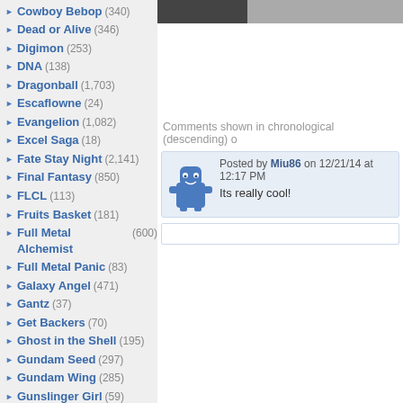Cowboy Bebop (340)
Dead or Alive (346)
Digimon (253)
DNA (138)
Dragonball (1,703)
Escaflowne (24)
Evangelion (1,082)
Excel Saga (18)
Fate Stay Night (2,141)
Final Fantasy (850)
FLCL (113)
Fruits Basket (181)
Full Metal Alchemist (600)
Full Metal Panic (83)
Galaxy Angel (471)
Gantz (37)
Get Backers (70)
Ghost in the Shell (195)
Gundam Seed (297)
Gundam Wing (285)
Gunslinger Girl (59)
Hack Sign (78)
Haibane Renmei (43)
Hamtaro (50)
Hello Kitty (299)
Hellsing (341)
Howls Moving Castle (60)
Hyper Police (9)
[Figure (photo): Partial photo visible at top right]
Comments shown in chronological (descending) o
Posted by Miu86 on 12/21/14 at 12:17 PM
Its really cool!